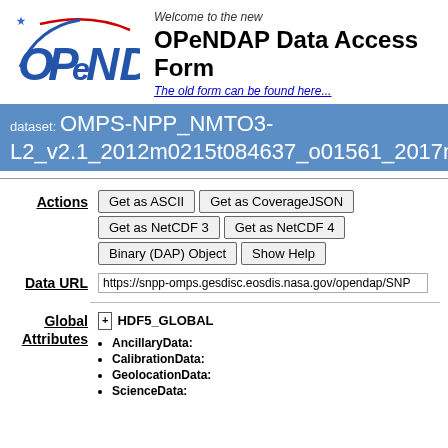[Figure (logo): OPeNDAP logo with blue arc and star, red arc, stylized text]
Welcome to the new
OPeNDAP Data Access Form
The old form can be found here...
dataset: OMPS-NPP_NMTO3-L2_v2.1_2012m0215t084637_o01561_2017m02
Actions
Get as ASCII | Get as CoverageJSON | Get as NetCDF 3 | Get as NetCDF 4 | Binary (DAP) Object | Show Help
Data URL
https://snpp-omps.gesdisc.eosdis.nasa.gov/opendap/SNP
Global Attributes
+ HDF5_GLOBAL
AncillaryData:
CalibrationData:
GeolocationData:
ScienceData: